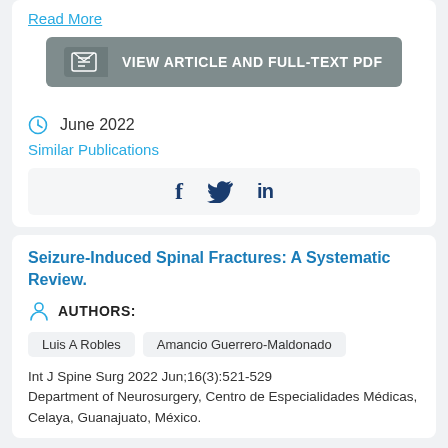Read More
VIEW ARTICLE AND FULL-TEXT PDF
June 2022
Similar Publications
[Figure (infographic): Social media share icons: Facebook (f), Twitter (bird), LinkedIn (in)]
Seizure-Induced Spinal Fractures: A Systematic Review.
AUTHORS:
Luis A Robles
Amancio Guerrero-Maldonado
Int J Spine Surg 2022 Jun;16(3):521-529
Department of Neurosurgery, Centro de Especialidades Médicas, Celaya, Guanajuato, México.